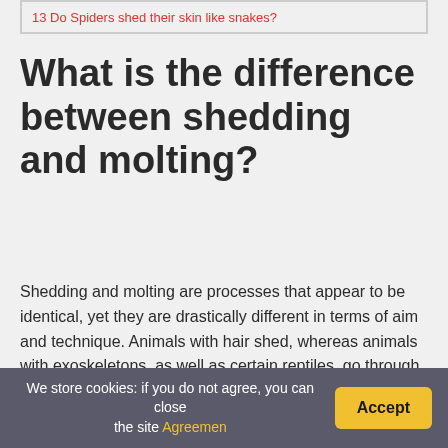13 Do Spiders shed their skin like snakes?
What is the difference between shedding and molting?
Shedding and molting are processes that appear to be identical, yet they are drastically different in terms of aim and technique. Animals with hair shed, whereas animals with exoskeletons, as well as certain reptiles, go through molting cycles. While shearing is nature's method of getting an animal ready for the changing seasons, molting is nature's way of preparing an animal for a new phase of
We store cookies: if you do not agree, you can close the site Agreemen  Accept